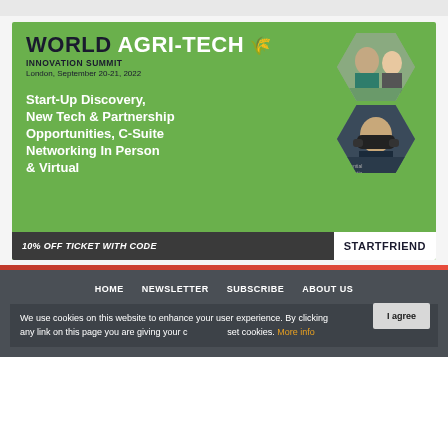[Figure (illustration): World Agri-Tech Innovation Summit advertisement banner. Green background with event title, date (London, September 20-21, 2022), tagline about Start-Up Discovery, New Tech & Partnership Opportunities, C-Suite Networking In Person & Virtual. Two hexagonal photos of event attendees. Bottom bar: 10% OFF TICKET WITH CODE STARTFRIEND.]
HOME   NEWSLETTER   SUBSCRIBE   ABOUT US
We use cookies on this website to enhance your user experience. By clicking any link on this page you are giving your consent to set cookies. More info